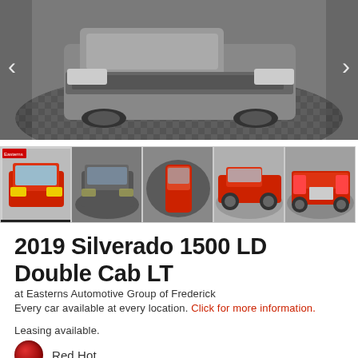[Figure (photo): Main large photo of a Chevrolet Silverado truck viewed from front/top on a circular display platform with a dark checkered floor background. Navigation arrows on left and right sides.]
[Figure (photo): Thumbnail 1: Red Silverado truck front view with Eastern Automotive logo overlay]
[Figure (photo): Thumbnail 2: Front face of dark Silverado truck on circular platform]
[Figure (photo): Thumbnail 3: Top-down aerial view of red Silverado on circular platform]
[Figure (photo): Thumbnail 4: Side profile of red Silverado truck]
[Figure (photo): Thumbnail 5: Rear view of red Silverado truck, partially visible]
2019 Silverado 1500 LD Double Cab LT
at Easterns Automotive Group of Frederick
Every car available at every location. Click for more information.
Leasing available.
Red Hot
Interior: Black